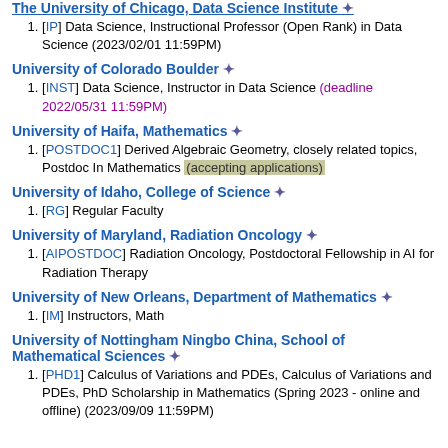The University of Chicago, Data Science Institute ✦
[IP] Data Science, Instructional Professor (Open Rank) in Data Science (2023/02/01 11:59PM)
University of Colorado Boulder ✦
[INST] Data Science, Instructor in Data Science (deadline 2022/05/31 11:59PM)
University of Haifa, Mathematics ✦
[POSTDOC1] Derived Algebraic Geometry, closely related topics, Postdoc In Mathematics (accepting applications)
University of Idaho, College of Science ✦
[RG] Regular Faculty
University of Maryland, Radiation Oncology ✦
[AIPOSTDOC] Radiation Oncology, Postdoctoral Fellowship in AI for Radiation Therapy
University of New Orleans, Department of Mathematics ✦
[IM] Instructors, Math
University of Nottingham Ningbo China, School of Mathematical Sciences ✦
[PHD1] Calculus of Variations and PDEs, Calculus of Variations and PDEs, PhD Scholarship in Mathematics (Spring 2023 - online and offline) (2023/09/09 11:59PM)